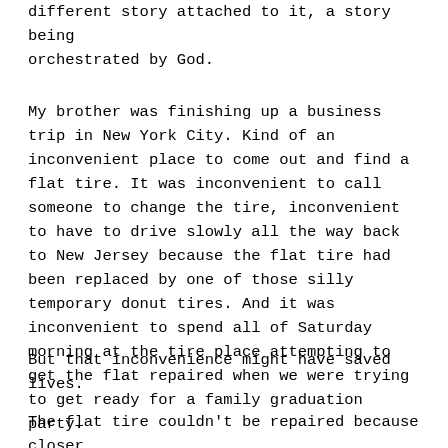different story attached to it, a story being orchestrated by God.
My brother was finishing up a business trip in New York City.  Kind of an inconvenient place to come out and find a flat tire.  It was inconvenient to call someone to change the tire, inconvenient to have to drive slowly all the way back to New Jersey because the flat tire had been replaced by one of those silly temporary donut tires.  And it was inconvenient to spend all of Saturday morning at the tire place attempting to get the flat repaired when we were trying to get ready for a family graduation party.
But that inconvenience might have saved lives.
The flat tire couldn't be repaired because closer